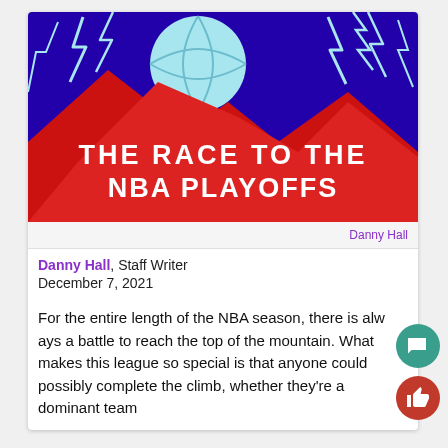[Figure (illustration): Article header image with dark purple/blue background, red mountain silhouette, light blue basketball/circle at top, and lightning bolt decorations. White stylized text reads 'THE RACE TO THE NBA PLAYOFFS']
Danny Hall
Danny Hall, Staff Writer
December 7, 2021
For the entire length of the NBA season, there is always a battle to reach the top of the mountain. What makes this league so special is that anyone could possibly complete the climb, whether they're a dominant team